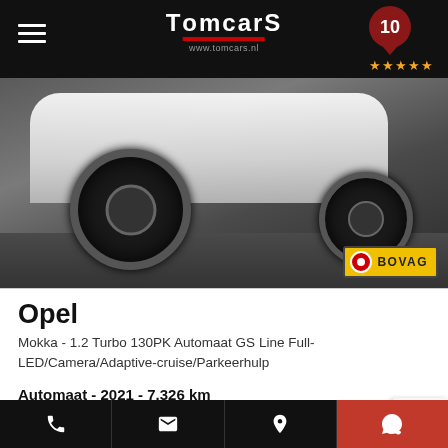TomcarS — www.tomcars.nl — Rating: 10 stars
[Figure (photo): Opel Mokka white SUV car photo showing front wheels and undercarriage on brick ground, with BOVAG badge overlay in bottom right]
Opel
Mokka - 1.2 Turbo 130PK Automaat GS Line Full-LED/Camera/Adaptive-cruise/Parkeerhulp
Automaat -  2021 -  7.326 km
€ 29.950 of € 491/mnd
Phone | Email | Location | WhatsApp